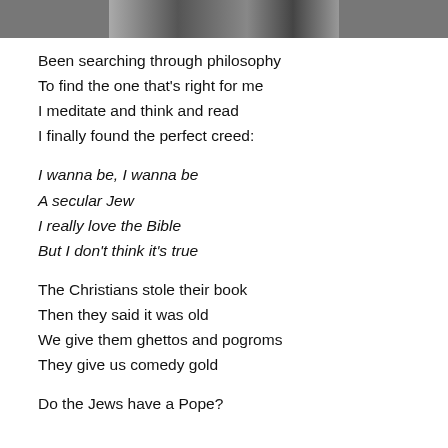[Figure (photo): Black and white photograph strip at top of page]
Been searching through philosophy
To find the one that's right for me
I meditate and think and read
I finally found the perfect creed:
I wanna be, I wanna be
A secular Jew
I really love the Bible
But I don't think it's true
The Christians stole their book
Then they said it was old
We give them ghettos and pogroms
They give us comedy gold
Do the Jews have a Pope?